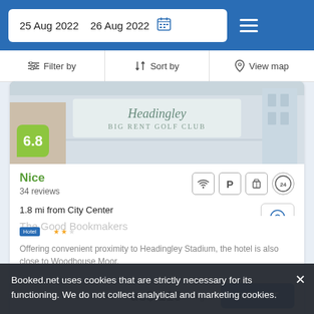25 Aug 2022   26 Aug 2022
Filter by   Sort by   View map
[Figure (photo): Hotel exterior photo showing Headingley hotel sign on a building facade]
Nice
34 reviews
1.8 mi from City Center
100 yd from Headingley Stadium
Offering convenient proximity to Headingley Stadium, the hotel is also close to Woodhouse Moor.
from us$ 110/night
Booked.net uses cookies that are strictly necessary for its functioning. We do not collect analytical and marketing cookies.